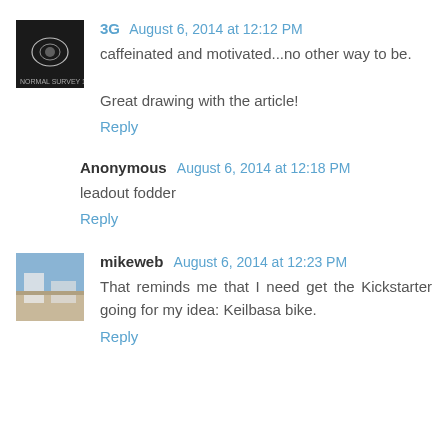[Figure (photo): Avatar thumbnail for user 3G, dark background ultrasound-style image]
3G  August 6, 2014 at 12:12 PM
caffeinated and motivated...no other way to be.

Great drawing with the article!
Reply
Anonymous  August 6, 2014 at 12:18 PM
leadout fodder
Reply
[Figure (photo): Avatar thumbnail for user mikeweb, outdoor/building photo]
mikeweb  August 6, 2014 at 12:23 PM
That reminds me that I need get the Kickstarter going for my idea: Keilbasa bike.
Reply